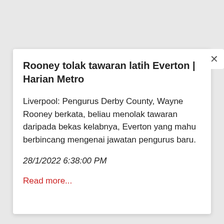Rooney tolak tawaran latih Everton | Harian Metro
Liverpool: Pengurus Derby County, Wayne Rooney berkata, beliau menolak tawaran daripada bekas kelabnya, Everton yang mahu berbincang mengenai jawatan pengurus baru.
28/1/2022 6:38:00 PM
Read more...